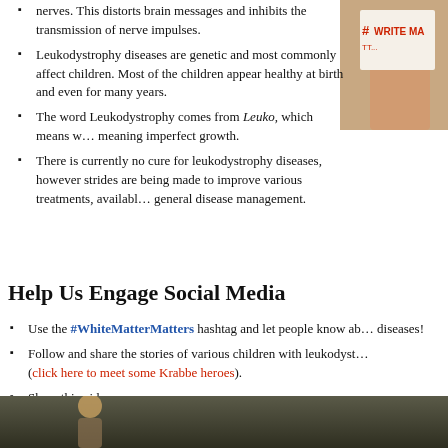nerves. This distorts brain messages and inhibits the transmission of nerve impulses.
Leukodystrophy diseases are genetic and most commonly affect children. Most of the children appear healthy at birth and even for many years.
[Figure (photo): Hand holding a sign with #WRITE MA text visible]
The word Leukodystrophy comes from Leuko, which means w... meaning imperfect growth.
There is currently no cure for leukodystrophy diseases, however strides are being made to improve various treatments, available general disease management.
Help Us Engage Social Media
Use the #WhiteMatterMatters hashtag and let people know ab... diseases!
Follow and share the stories of various children with leukodyst... (click here to meet some Krabbe heroes).
Share this video:
[Figure (photo): Bottom strip showing a person, partial video thumbnail]